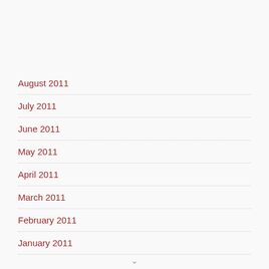August 2011
July 2011
June 2011
May 2011
April 2011
March 2011
February 2011
January 2011